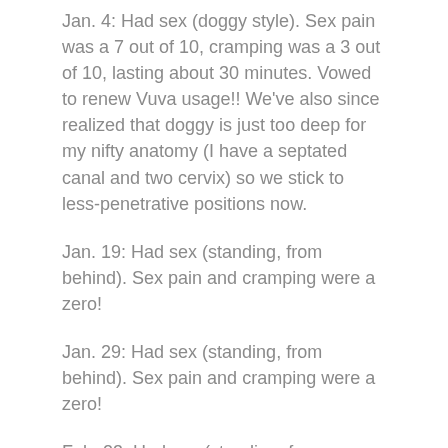Jan. 4: Had sex (doggy style).  Sex pain was a 7 out of 10, cramping was a 3 out of 10, lasting about 30 minutes.  Vowed to renew Vuva usage!!  We've also since realized that doggy is just too deep for my nifty anatomy (I have a septated canal and two cervix) so we stick to less-penetrative positions now.
Jan. 19: Had sex (standing, from behind).  Sex pain and cramping were a zero!
Jan. 29: Had sex (standing, from behind).  Sex pain and cramping were a zero!
Feb. 23: Had sex (standing, from behind).  Sex pain and cramping were a zero!
March 7: Had sex (missionary, and sideways spoony-sex).